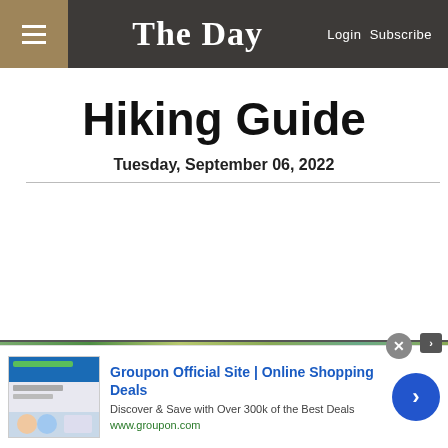The Day — Login Subscribe
Hiking Guide
Tuesday, September 06, 2022
Lay Property
[Figure (photo): Partial view of a nature/trail image strip]
[Figure (screenshot): Groupon advertisement banner: 'Groupon Official Site | Online Shopping Deals — Discover & Save with Over 300k of the Best Deals — www.groupon.com']